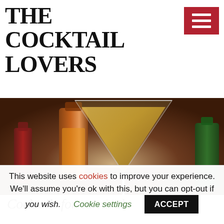THE COCKTAIL LOVERS
[Figure (photo): A martini glass filled with yellow cocktail in foreground, blurred amber liquor bottles in background on a dark bar surface]
Cocktails for carnival
This website uses cookies to improve your experience. We'll assume you're ok with this, but you can opt-out if you wish.
Cookie settings   ACCEPT